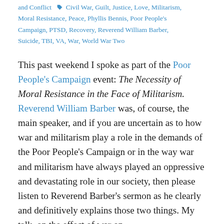and Conflict  🏷 Civil War, Guilt, Justice, Love, Militarism, Moral Resistance, Peace, Phyllis Bennis, Poor People's Campaign, PTSD, Recovery, Reverend William Barber, Suicide, TBI, VA, War, World War Two
This past weekend I spoke as part of the Poor People's Campaign event: The Necessity of Moral Resistance in the Face of Militarism. Reverend William Barber was, of course, the main speaker, and if you are uncertain as to how war and militarism play a role in the demands of the Poor People's Campaign or in the way war and militarism have always played an oppressive and devastating role in our society, then please listen to Reverend Barber's sermon as he clearly and definitively explains those two things. My talk, on the effect of war on